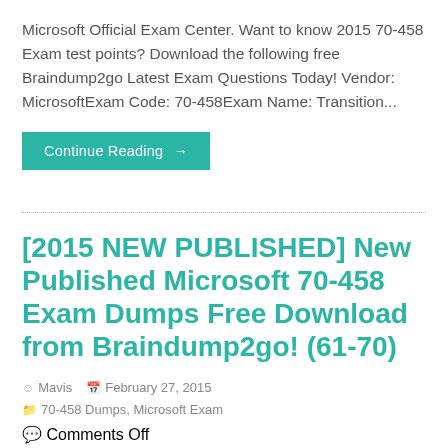Microsoft Official Exam Center. Want to know 2015 70-458 Exam test points? Download the following free Braindump2go Latest Exam Questions Today! Vendor: MicrosoftExam Code: 70-458Exam Name: Transition...
Continue Reading →
[2015 NEW PUBLISHED] New Published Microsoft 70-458 Exam Dumps Free Download from Braindump2go! (61-70)
Mavis   February 27, 2015   70-458 Dumps, Microsoft Exam   Comments Off